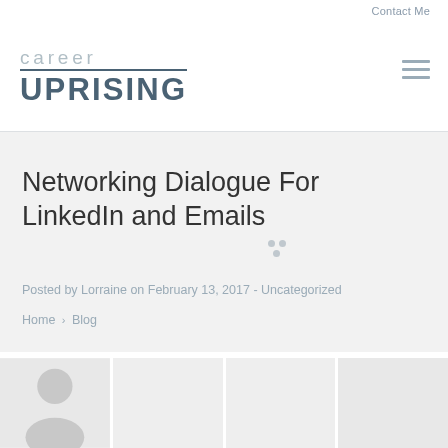Contact Me
[Figure (logo): Career Uprising logo with 'career' in light gray thin text above 'UPRISING' in bold dark blue-gray capital letters, separated by a horizontal rule]
Networking Dialogue For LinkedIn and Emails
Posted by Lorraine on February 13, 2017 - Uncategorized
Home > Blog
[Figure (photo): Bottom strip showing partial images in four panels, first panel showing a person silhouette/photo]